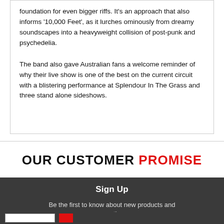foundation for even bigger riffs. It's an approach that also informs '10,000 Feet', as it lurches ominously from dreamy soundscapes into a heavyweight collision of post-punk and psychedelia.
The band also gave Australian fans a welcome reminder of why their live show is one of the best on the current circuit with a blistering performance at Splendour In The Grass and three stand alone sideshows.
OUR CUSTOMER PROMISE
Sign Up
Be the first to know about new products and promotions.